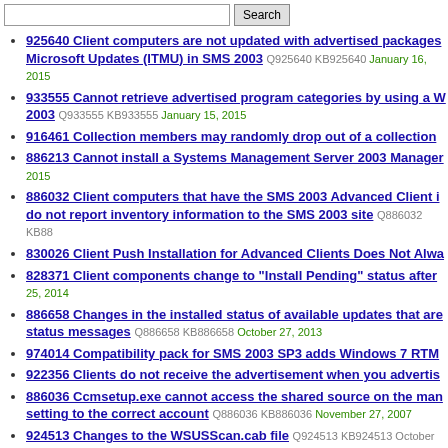925640 Client computers are not updated with advertised packages Microsoft Updates (ITMU) in SMS 2003 Q925640 KB925640 January 16, 2015
933555 Cannot retrieve advertised program categories by using a W 2003 Q933555 KB933555 January 15, 2015
916461 Collection members may randomly drop out of a collection
886213 Cannot install a Systems Management Server 2003 Manager 2015
886032 Client computers that have the SMS 2003 Advanced Client i do not report inventory information to the SMS 2003 site Q886032 KB88
830026 Client Push Installation for Advanced Clients Does Not Alwa
828371 Client components change to "Install Pending" status after 25, 2014
886658 Changes in the installed status of available updates that are status messages Q886658 KB886658 October 27, 2013
974014 Compatibility pack for SMS 2003 SP3 adds Windows 7 RTM
922356 Clients do not receive the advertisement when you advertis
886036 Ccmsetup.exe cannot access the shared source on the man setting to the correct account Q886036 KB886036 November 27, 2007
924513 Changes to the WSUSScan.cab file Q924513 KB924513 October 11,
831737 Computers with IP addresses that are more than 14 charact KB831737 July 24, 2007
883496 Client Access Points are installed to the default NTFS file sy Server 2003 Q883496 KB883496 June 27, 2007